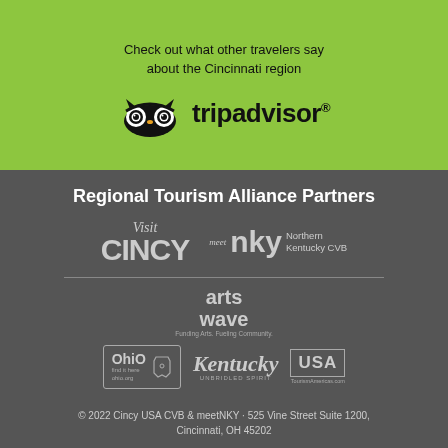Check out what other travelers say about the Cincinnati region
[Figure (logo): TripAdvisor logo with owl icon and text 'tripadvisor®']
Regional Tourism Alliance Partners
[Figure (logo): Visit Cincy logo]
[Figure (logo): meet NKY Northern Kentucky CVB logo]
[Figure (logo): ArtsWave logo]
[Figure (logo): Ohio find it here ohio.org logo]
[Figure (logo): Kentucky Unbridled Spirit logo]
[Figure (logo): USA Tourism Americas logo]
© 2022 Cincy USA CVB & meetNKY · 525 Vine Street Suite 1200, Cincinnati, OH 45202